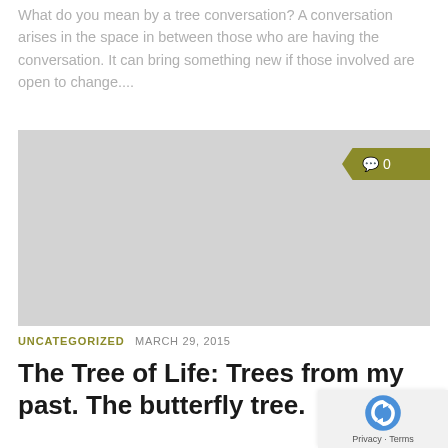What do you mean by a tree conversation? A conversation arises in the space in between those who are having the conversation. It can bring something new if those involved are open to change....
[Figure (photo): Large gray placeholder image block with a comment badge showing 0 comments in the top right corner]
UNCATEGORIZED   MARCH 29, 2015
The Tree of Life: Trees from my past. The butterfly tree.